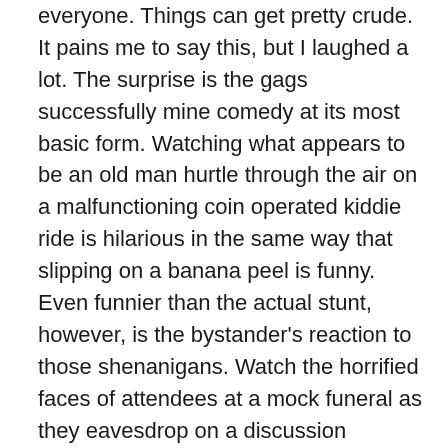everyone. Things can get pretty crude. It pains me to say this, but I laughed a lot. The surprise is the gags successfully mine comedy at its most basic form. Watching what appears to be an old man hurtle through the air on a malfunctioning coin operated kiddie ride is hilarious in the same way that slipping on a banana peel is funny. Even funnier than the actual stunt, however, is the bystander's reaction to those shenanigans. Watch the horrified faces of attendees at a mock funeral as they eavesdrop on a discussion grandpa and mom have over who's going to take care of little Billy. It's gut-busting. Occasionally the stunts aim even higher. Dressing the boy up like a girl and crashing a child beauty contest is amusing in the obvious sense, but it pokes fun at those questionable contests as well. I'm not saying this is a satire. This is lowbrow humor, but hey, that can be enjoyable too. I mean those sophisticated cartoons in the